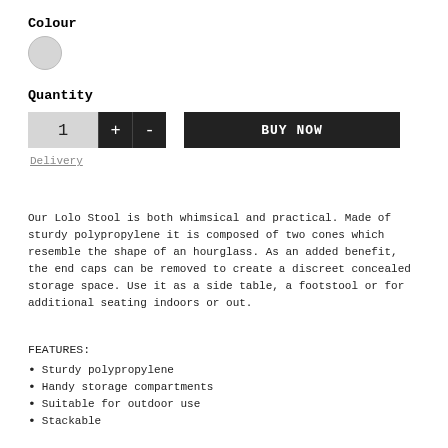Colour
[Figure (other): Light grey circular colour swatch]
Quantity
1  +  -  BUY NOW
Delivery
Our Lolo Stool is both whimsical and practical. Made of sturdy polypropylene it is composed of two cones which resemble the shape of an hourglass. As an added benefit, the end caps can be removed to create a discreet concealed storage space. Use it as a side table, a footstool or for additional seating indoors or out.
FEATURES:
Sturdy polypropylene
Handy storage compartments
Suitable for outdoor use
Stackable